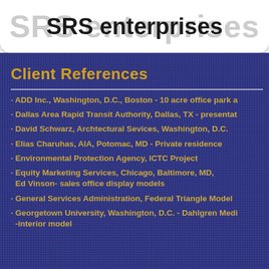SRS enterprises
Client References
· ADD Inc., Washington, D.C., Boston - 10 acre office park a
· Dallas Area Rapid Transit Authority, Dallas, TX - presentat
· David Schwarz, Archtectural Sevices, Washington, D.C.
· Elias Charuhas, AIA, Potomac, MD - Private residence
· Environmental Protection Agency, ICTC Project
· Equity Marketing Services, Chicago, Baltimore, MD, Ed Vinson- sales office display models
· General Services Administration, Federal Triangle Model
· Georgetown University, Washington, D.C. - Dahlgren Medi -interior model